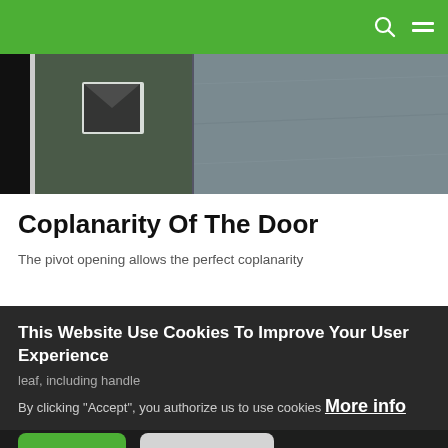[Figure (photo): Close-up photo of a door panel with a small square window/vent, dark background on left, grey textured wall on right]
Coplanarity Of The Door
The pivot opening allows the perfect coplanarity rated leaf, including handle
This Website Use Cookies To Improve Your User Experience
By clicking "Accept", you authorize us to use cookies More info
[Figure (photo): Dark background image at bottom of page, partially visible behind cookie consent overlay]